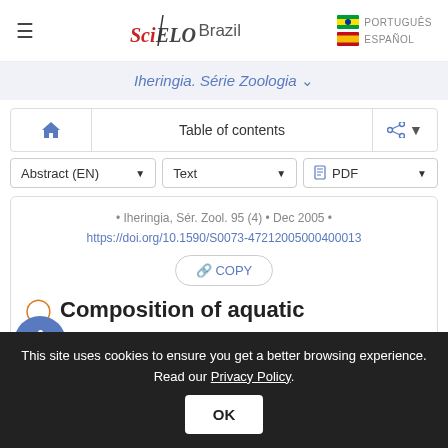SciELO Brazil | PORTUGUÊS | ESPAÑOL
Iheringia. Série Zoologia
Table of contents
Abstract (EN) | Text | PDF
• Iheringia, Sér. Zool. 95 (4) • Dec 2005 •
https://doi.org/10.1590/S0073-47212005000400013
COPY
Composition of aquatic
This site uses cookies to ensure you get a better browsing experience. Read our Privacy Policy.